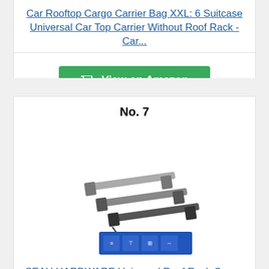Car Rooftop Cargo Carrier Bag XXL: 6 Suitcase Universal Car Top Carrier Without Roof Rack - Car...
View on Amazon
No. 7
[Figure (photo): Photo of roof rack crossbars product and product packaging box]
SEAH HARDWARE Universal Roof Rack Cross-Bars 2 PC.
View on Amazon